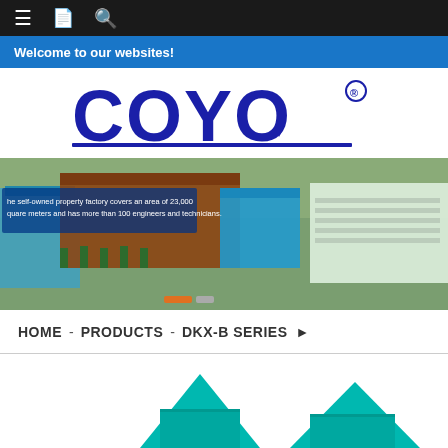≡  🗎  🔍
Welcome to our websites!
[Figure (logo): COYO registered trademark logo in bold dark blue stylized letters with registered symbol]
[Figure (photo): Aerial drone view of a factory complex with multiple large warehouse buildings with brown and blue roofs, trees lining the property. Overlay text: 'the self-owned property factory covers an area of 23,000 square meters and has more than 100 engineers and technicians.']
HOME  -  PRODUCTS  -  DKX-B SERIES  ▶
[Figure (photo): Partial view of teal/cyan colored industrial product (DKX-B series), showing top portions of two units]